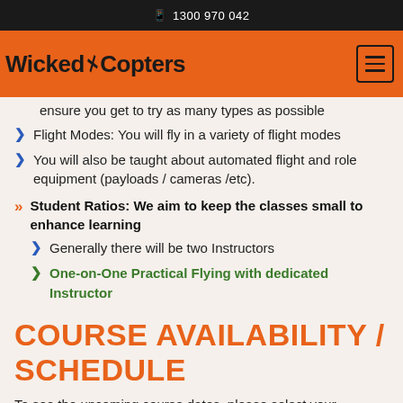1300 970 042
[Figure (logo): Wicked Copters logo with orange background and hamburger menu icon]
ensure you get to try as many types as possible
Flight Modes: You will fly in a variety of flight modes
You will also be taught about automated flight and role equipment (payloads / cameras /etc).
Student Ratios: We aim to keep the classes small to enhance learning
Generally there will be two Instructors
One-on-One Practical Flying with dedicated Instructor
COURSE AVAILABILITY / SCHEDULE
To see the upcoming course dates, please select your preferred assessment centre (for the face to face